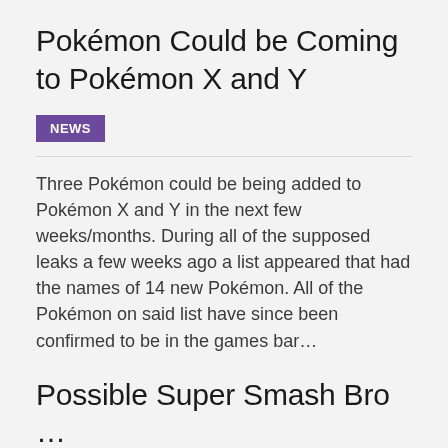Pokémon Could be Coming to Pokémon X and Y
NEWS
Three Pokémon could be being added to Pokémon X and Y in the next few weeks/months. During all of the supposed leaks a few weeks ago a list appeared that had the names of 14 new Pokémon. All of the Pokémon on said list have since been confirmed to be in the games bar…
Possible Super Smash Bro…